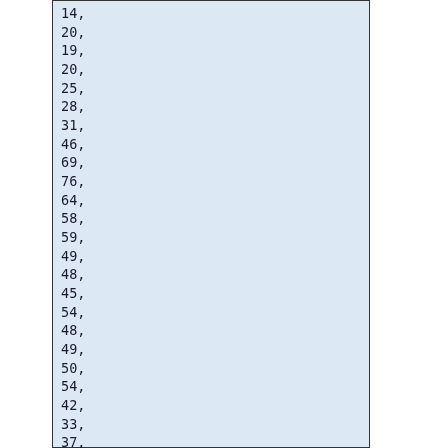14,
20,
19,
20,
25,
28,
31,
46,
69,
76,
64,
58,
59,
49,
48,
45,
54,
48,
49,
50,
54,
42,
33,
37,
38,
31,
33,
35,
27,
31,
30,
30,